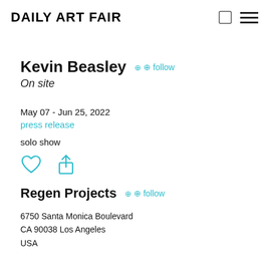Daily Art Fair
Kevin Beasley
On site
May 07 - Jun 25, 2022
press release
solo show
[Figure (other): Heart (like) icon and share icon in teal/cyan color]
Regen Projects  follow
6750 Santa Monica Boulevard
CA 90038 Los Angeles
USA